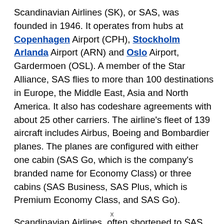Scandinavian Airlines (SK), or SAS, was founded in 1946. It operates from hubs at Copenhagen Airport (CPH), Stockholm Arlanda Airport (ARN) and Oslo Airport, Gardermoen (OSL). A member of the Star Alliance, SAS flies to more than 100 destinations in Europe, the Middle East, Asia and North America. It also has codeshare agreements with about 25 other carriers. The airline's fleet of 139 aircraft includes Airbus, Boeing and Bombardier planes. The planes are configured with either one cabin (SAS Go, which is the company's branded name for Economy Class) or three cabins (SAS Business, SAS Plus, which is Premium Economy Class, and SAS Go).
Scandinavian Airlines, often shortened to SAS (previously Scandinavian Airlines System and legally Scandinavian
x